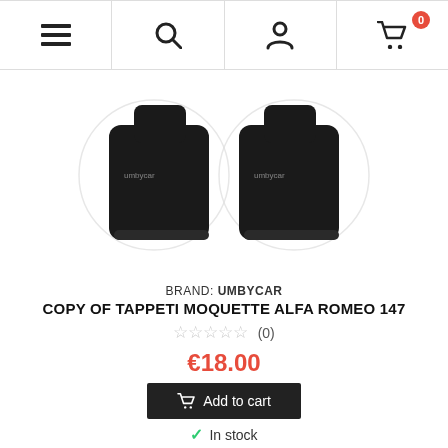Navigation bar with menu, search, account, and cart (0 items) icons
[Figure (photo): Two black car floor mats (Alfa Romeo 147 moquette) on white background with watermark logo]
BRAND: UMBYCAR
COPY OF TAPPETI MOQUETTE ALFA ROMEO 147
☆☆☆☆☆ (0)
€18.00
Add to cart
✓ In stock
[Figure (photo): Bottom product section showing OMAGGIO badge, 'Tappeti specifici Kia' black banner, partial car mat image, and chat widget]